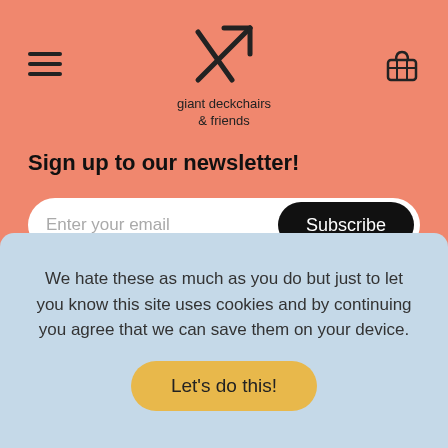[Figure (logo): Giant Deckchairs & Friends logo with arrow/scissors icon and brand name text]
Sign up to our newsletter!
Enter your email
Subscribe
We hate these as much as you do but just to let you know this site uses cookies and by continuing you agree that we can save them on your device.
Let's do this!